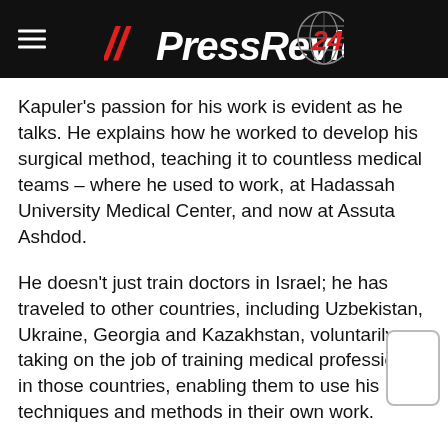// PressReview 24
Kapuler's passion for his work is evident as he talks. He explains how he worked to develop his surgical method, teaching it to countless medical teams – where he used to work, at Hadassah University Medical Center, and now at Assuta Ashdod.
He doesn't just train doctors in Israel; he has traveled to other countries, including Uzbekistan, Ukraine, Georgia and Kazakhstan, voluntarily taking on the job of training medical professionals in those countries, enabling them to use his techniques and methods in their own work.
“There is nothing more exciting to me than pediatric surgery,” he tells the Magazine. When you operate on